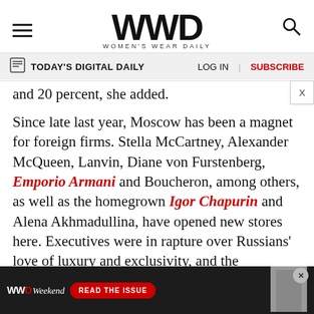WWD WOMEN'S WEAR DAILY — TODAY'S DIGITAL DAILY | LOG IN | SUBSCRIBE
and 20 percent, she added.
Since late last year, Moscow has been a magnet for foreign firms. Stella McCartney, Alexander McQueen, Lanvin, Diane von Furstenberg, Emporio Armani and Boucheron, among others, as well as the homegrown Igor Chapurin and Alena Akhmadullina, have opened new stores here. Executives were in rapture over Russians' love of luxury and exclusivity, and the expansion possibilities in a country that spans 11 time zones.
[Figure (other): WWD Weekend advertisement banner with photo of model]